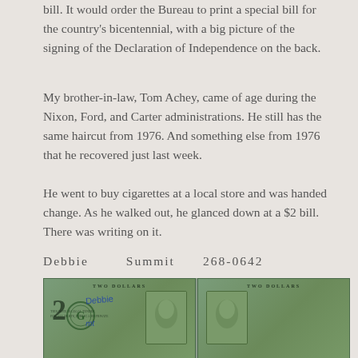bill. It would order the Bureau to print a special bill for the country's bicentennial, with a big picture of the signing of the Declaration of Independence on the back.
My brother-in-law, Tom Achey, came of age during the Nixon, Ford, and Carter administrations. He still has the same haircut from 1976. And something else from 1976 that he recovered just last week.
He went to buy cigarettes at a local store and was handed change. As he walked out, he glanced down at a $2 bill. There was writing on it.
Debbie        Summit        268-0642
[Figure (photo): Photograph of a $2 US bill shown in two halves side by side. The left half shows the front of the bill with the number 2, a green G seal, and handwritten text 'Debbie' and 'mt' in blue ink. The right half shows the serial number G50414884A and handwritten '268-0642' in green ink, with 'TWO DOLLARS' text at top and 'WASHINGTON D.C.' text.]